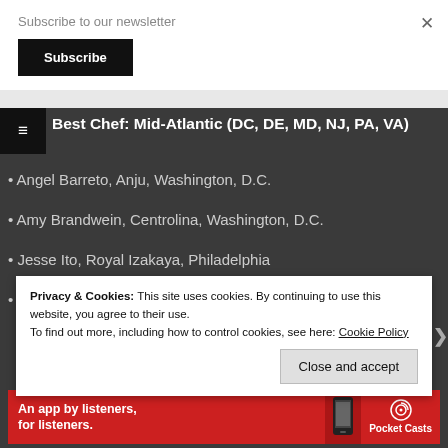Subscribe to our newsletter
Subscribe
Best Chef: Mid-Atlantic (DC, DE, MD, NJ, PA, VA)
Angel Barreto, Anju, Washington, D.C.
Amy Brandwein, Centrolina, Washington, D.C.
Jesse Ito, Royal Izakaya, Philadelphia
Cristina Martinez, South Philly Barbacoa
Privacy & Cookies: This site uses cookies. By continuing to use this website, you agree to their use.
To find out more, including how to control cookies, see here: Cookie Policy
Close and accept
An app by listeners, for listeners.